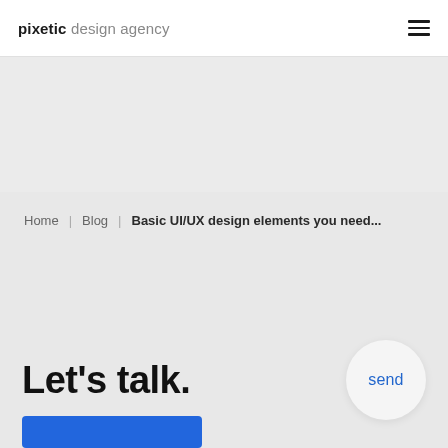pixetic design agency
Home | Blog | Basic UI/UX design elements you need...
Let's talk.
send